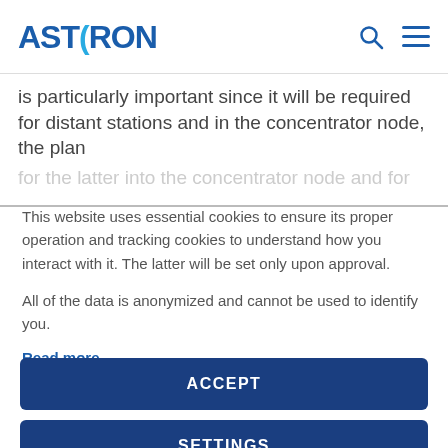ASTRON
is particularly important since it will be required for distant stations and in the concentrator node, the plan for the latter into the concentrator node and for the concentrator
This website uses essential cookies to ensure its proper operation and tracking cookies to understand how you interact with it. The latter will be set only upon approval.
All of the data is anonymized and cannot be used to identify you.
Read more
ACCEPT
SETTINGS